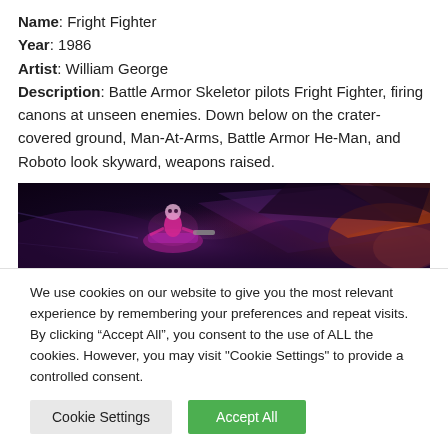Name: Fright Fighter
Year: 1986
Artist: William George
Description: Battle Armor Skeletor pilots Fright Fighter, firing canons at unseen enemies. Down below on the crater-covered ground, Man-At-Arms, Battle Armor He-Man, and Roboto look skyward, weapons raised.
[Figure (photo): Cropped artwork showing Battle Armor Skeletor piloting the Fright Fighter spacecraft against a dark, dramatic background with purple and orange hues.]
We use cookies on our website to give you the most relevant experience by remembering your preferences and repeat visits. By clicking “Accept All”, you consent to the use of ALL the cookies. However, you may visit "Cookie Settings" to provide a controlled consent.